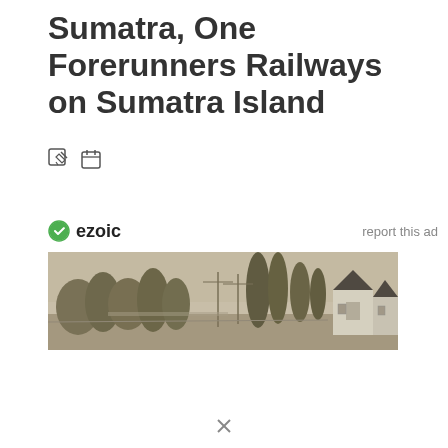Sumatra, One Forerunners Railways on Sumatra Island
[Figure (other): Two small icons: an edit/pencil icon and a calendar icon]
ezoic   report this ad
[Figure (photo): Sepia-toned historical panoramic photograph showing a street scene on Sumatra Island with trees, telegraph poles, and colonial-era buildings including a white building with pointed gable roofs on the right side]